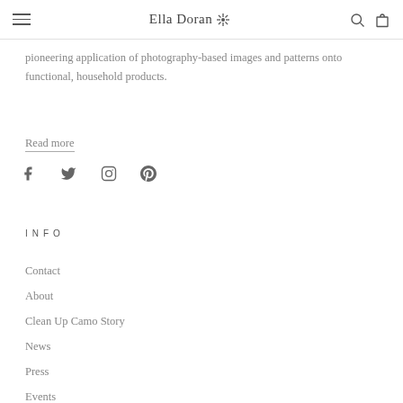Ella Doran
pioneering application of photography-based images and patterns onto functional, household products.
Read more
[Figure (other): Social media icons: Facebook, Twitter, Instagram, Pinterest]
INFO
Contact
About
Clean Up Camo Story
News
Press
Events